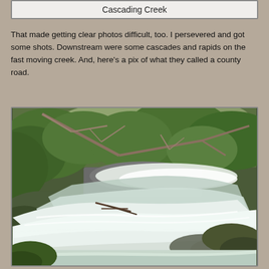Cascading Creek
That made getting clear photos difficult, too. I persevered and got some shots. Downstream were some cascades and rapids on the fast moving creek. And, here's a pix of what they called a county road.
[Figure (photo): A photograph of a cascading creek with fast-moving whitewater rushing over rocks, surrounded by dense green vegetation and overhanging bare branches of trees. The water is frothy and turbulent, flowing diagonally across the frame.]